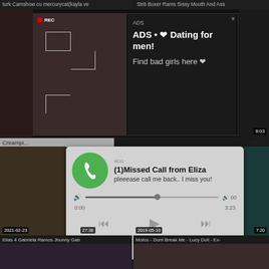turk Camshow cu mercurycat(kayla ve
Str8 Boxer Rams Sissy Mouth And Ass
[Figure (screenshot): Video thumbnail with REC badge overlay and dating advertisement popup showing 'ADS • ❤ Dating for men! Find bad girls here ❤']
Creampi...
ne 2
[Figure (screenshot): Missed call popup ad with green phone icon: '(1)Missed Call from Eliza - pleeease call me back.. I miss you!' with audio player showing 0:00 to 3:23]
2021-02-23
27:38
2019-05-10
7:20
Ellas 4 Gabriela Ramos Jhonny Gab
Mofos - Dont Break Me - Lucy Doll - Ex-